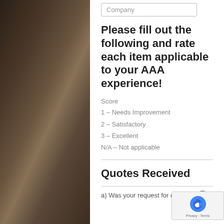[Figure (photo): Airplane hangar background photo showing aircraft on left and right sides]
Company
Please fill out the following and rate each item applicable to your AAA experience!
Score
1 – Needs Improvement
2 – Satisfactory
3 – Excellent
N/A – Not applicable
Quotes Received
a) Was your request for quote
[Figure (other): reCAPTCHA widget showing Privacy and Terms]